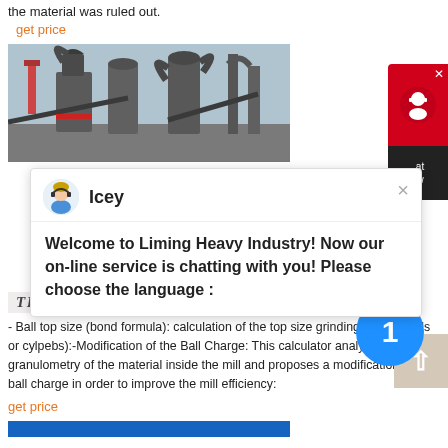the material was ruled out.
get price
[Figure (photo): Industrial milling/grinding facility with large cylindrical machines, pipes and conveyors against a hazy sky.]
[Figure (screenshot): Chat popup from Liming Heavy Industry with avatar 'Icey'. Message: Welcome to Liming Heavy Industry! Now our on-line service is chatting with you! Please choose the language:]
THECEMENTGRINDINGOFFICE
- Ball top size (bond formula): calculation of the top size grinding media (balls or cylpebs):-Modification of the Ball Charge: This calculator analyses the granulometry of the material inside the mill and proposes a modification of the ball charge in order to improve the mill efficiency:
get price
[Figure (other): Blue strip at bottom of page]